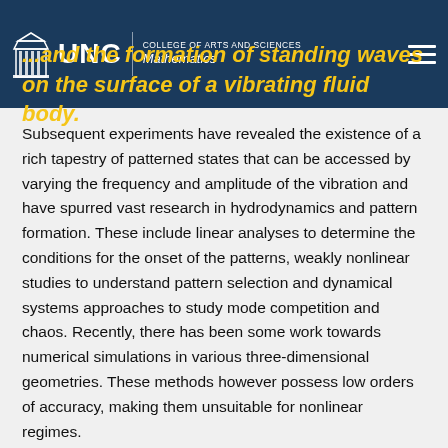UNC College of Arts and Sciences — Mathematics
...and the formation of standing waves on the surface of a vibrating fluid body.
Subsequent experiments have revealed the existence of a rich tapestry of patterned states that can be accessed by varying the frequency and amplitude of the vibration and have spurred vast research in hydrodynamics and pattern formation. These include linear analyses to determine the conditions for the onset of the patterns, weakly nonlinear studies to understand pattern selection and dynamical systems approaches to study mode competition and chaos. Recently, there has been some work towards numerical simulations in various three-dimensional geometries. These methods however possess low orders of accuracy, making them unsuitable for nonlinear regimes.
We present a technique for fast and accurate simulations of nonlinear Faraday waves in a cylinder. Beginning from